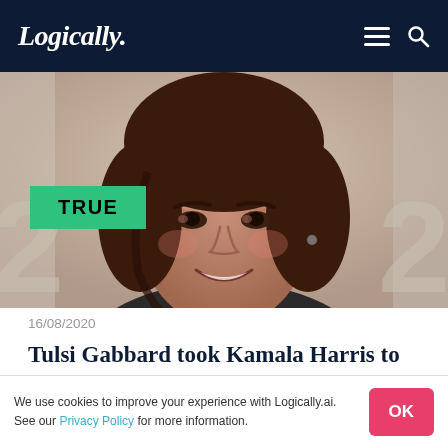Logically.
[Figure (photo): Close-up portrait photograph of Kamala Harris smiling, with brown hair, against a light background. A green 'TRUE' badge is overlaid in the lower left of the image.]
16/08/2020
Tulsi Gabbard took Kamala Harris to task on Marijuana Prosecution.
We use cookies to improve your experience with Logically.ai. See our Privacy Policy for more information.